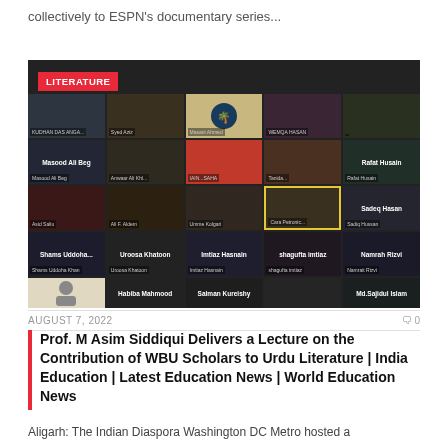collectively to ESPN's documentary series...
[Figure (screenshot): Screenshot of a video conference call showing multiple participants in a grid layout. A red 'LITERATURE' badge appears in the top-left corner. Participants visible include Masood Ali Beg, Rafat Husain, Sadeq Hasan, Shams Uddoha..., Uroosa Khatoon, Imtiaz Hasnain, Shagufta Imtiaz, Namrah Rizvi, Habiba Mahmood, Salman Kureishy, Md.Sajidul Islam, and others.]
AUGUST 7, 2022
Prof. M Asim Siddiqui Delivers a Lecture on the Contribution of WBU Scholars to Urdu Literature | India Education | Latest Education News | World Education News
Aligarh: The Indian Diaspora Washington DC Metro hosted a